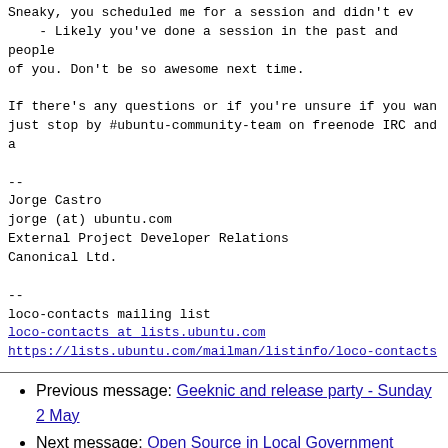Sneaky, you scheduled me for a session and didn't eve
    - Likely you've done a session in the past and people
of you. Don't be so awesome next time.

If there's any questions or if you're unsure if you want
just stop by #ubuntu-community-team on freenode IRC and a
--
Jorge Castro
jorge (at) ubuntu.com
External Project Developer Relations
Canonical Ltd.

--
loco-contacts mailing list
loco-contacts at lists.ubuntu.com
https://lists.ubuntu.com/mailman/listinfo/loco-contacts
Previous message: Geeknic and release party - Sunday 2 May
Next message: Open Source in Local Government
Messages sorted by: [ date ] [ thread ] [ subject ] [ author ]
More information about the Ubuntu-ie mailing list